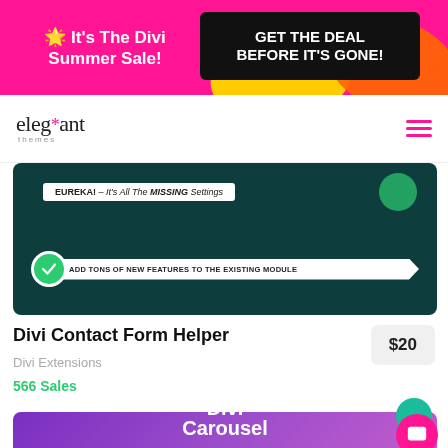🌟 It's The Divi Summer Sale! GET THE DEAL BEFORE IT'S GONE!
[Figure (logo): Elegant Themes logo with pink star asterisk]
[Figure (screenshot): Divi Contact Form Helper plugin preview with dark teal background, EUREKA label, and 'ADD TONS OF NEW FEATURES TO THE EXISTING MODULE' banner]
Divi Contact Form Helper
Divi Extensions
566 Sales
$20
[Figure (screenshot): Divi Carousel plugin card with purple gradient background and white bold text reading 'Divi Carousel']